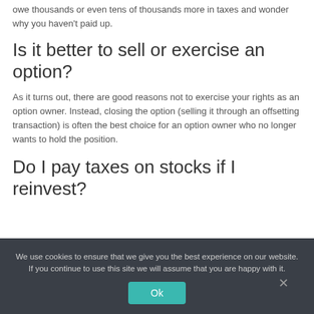owe thousands or even tens of thousands more in taxes and wonder why you haven't paid up.
Is it better to sell or exercise an option?
As it turns out, there are good reasons not to exercise your rights as an option owner. Instead, closing the option (selling it through an offsetting transaction) is often the best choice for an option owner who no longer wants to hold the position.
Do I pay taxes on stocks if I reinvest?
We use cookies to ensure that we give you the best experience on our website. If you continue to use this site we will assume that you are happy with it.